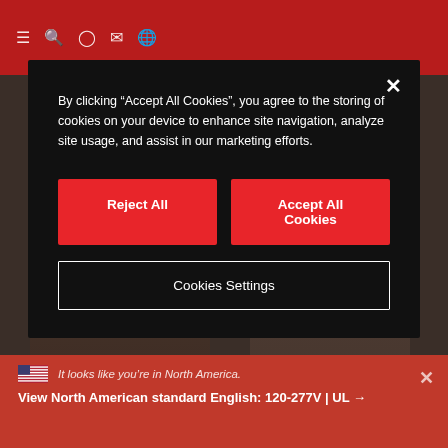[Figure (screenshot): Website screenshot showing a cookie consent modal dialog over a dark red navigation bar and architectural photo background. Bottom shows a red banner about North America region.]
By clicking “Accept All Cookies”, you agree to the storing of cookies on your device to enhance site navigation, analyze site usage, and assist in our marketing efforts.
Reject All
Accept All Cookies
Cookies Settings
It looks like you’re in North America.
View North American standard English: 120-277V | UL →